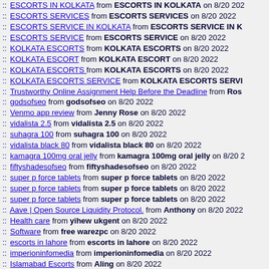:: ESCORTS IN KOLKATA from ESCORTS IN KOLKATA on 8/20 2022
:: ESCORTS SERVICES from ESCORTS SERVICES on 8/20 2022
:: ESCORTS SERVICE IN KOLKATA from ESCORTS SERVICE IN KOLKATA on 8/20
:: ESCORTS SERVICE from ESCORTS SERVICE on 8/20 2022
:: KOLKATA ESCORTS from KOLKATA ESCORTS on 8/20 2022
:: KOLKATA ESCORT from KOLKATA ESCORT on 8/20 2022
:: KOLKATA ESCORTS from KOLKATA ESCORTS on 8/20 2022
:: KOLKATA ESCORTS SERVICE from KOLKATA ESCORTS SERVICE on 8/20
:: Trustworthy Online Assignment Help Before the Deadline from Ros on 8/20
:: godsofseo from godsofseo on 8/20 2022
:: Venmo app review from Jenny Rose on 8/20 2022
:: vidalista 2.5 from vidalista 2.5 on 8/20 2022
:: suhagra 100 from suhagra 100 on 8/20 2022
:: vidalista black 80 from vidalista black 80 on 8/20 2022
:: kamagra 100mg oral jelly from kamagra 100mg oral jelly on 8/20
:: fiftyshadesofseo from fiftyshadesofseo on 8/20 2022
:: super p force tablets from super p force tablets on 8/20 2022
:: super p force tablets from super p force tablets on 8/20 2022
:: super p force tablets from super p force tablets on 8/20 2022
:: Aave | Open Source Liquidity Protocol. from Anthony on 8/20 2022
:: Health care from yihew ukgent on 8/20 2022
:: Software from free warezpc on 8/20 2022
:: escorts in lahore from escorts in lahore on 8/20 2022
:: imperioninfomedia from imperioninfomedia on 8/20 2022
:: Islamabad Escorts from Aling on 8/20 2022
:: Escort In Karachi from Escort In Karachi on 8/20 2022
:: norc979 from yvonna pmarketst on 8/20 2022
:: Best Call Girls in Lahore from Call Girls in Lahore on 8/20 2022
:: Medicines for Erectile Dysfunctions from Medixnetwork on 8/20 20
:: Buy Vigora 100mg at Cheap Price from Medixnetwork on 8/20 202
:: Buy Vilitra 20mg at Cheap Price from Medixnetwork on 8/20 2022